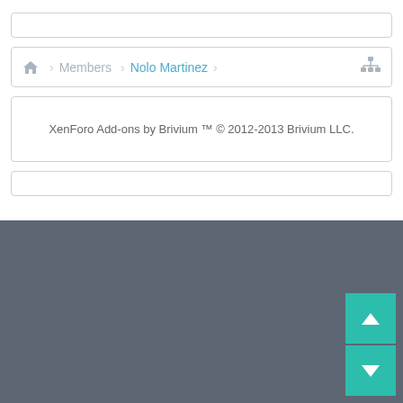[Figure (screenshot): Search bar input field at top of page]
[Figure (screenshot): Breadcrumb navigation bar showing Home > Members > Nolo Martinez with org chart icon on right]
XenForo Add-ons by Brivium ™ © 2012-2013 Brivium LLC.
[Figure (screenshot): Empty bottom bar/input field]
[Figure (screenshot): Gray footer area with teal scroll up and scroll down buttons in bottom right corner]